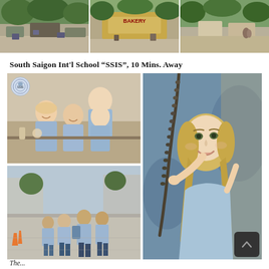[Figure (photo): Three outdoor/street photos showing tree-lined streets and storefronts near South Saigon area, displayed side by side at the top of the page]
South Saigon Int'l School “SSIS”, 10 Mins. Away
[Figure (photo): Collage of four school photos: SSIS logo badge, group of young Asian girls smiling at a dining table in school uniform, older teenage students in uniform walking on a street, and a close-up of a blonde girl smiling while holding a chain swing]
The...